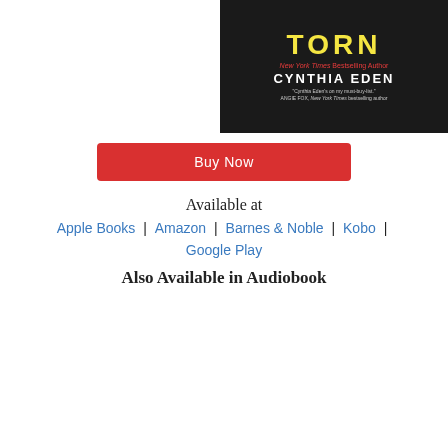[Figure (illustration): Book cover of 'Torn' by Cynthia Eden showing dark background with title in yellow and author name in white, with red subtitle text and quote from Angie Fox]
Buy Now
Available at
Apple Books | Amazon | Barnes & Noble | Kobo | Google Play
Also Available in Audiobook
Torn Audio Sample
00:00   [progress bar]   00:00